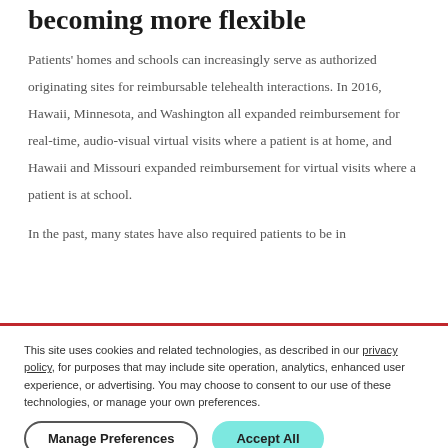becoming more flexible
Patients' homes and schools can increasingly serve as authorized originating sites for reimbursable telehealth interactions. In 2016, Hawaii, Minnesota, and Washington all expanded reimbursement for real-time, audio-visual virtual visits where a patient is at home, and Hawaii and Missouri expanded reimbursement for virtual visits where a patient is at school.
In the past, many states have also required patients to be in
This site uses cookies and related technologies, as described in our privacy policy, for purposes that may include site operation, analytics, enhanced user experience, or advertising. You may choose to consent to our use of these technologies, or manage your own preferences.
Manage Preferences | Accept All